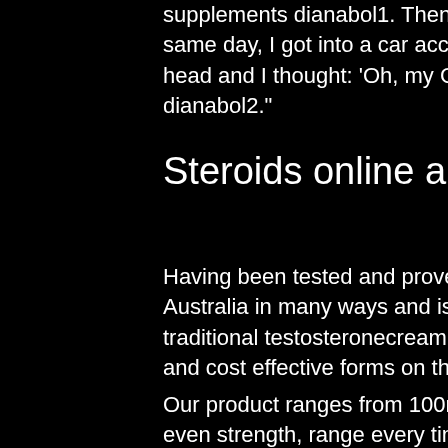supplements dianabol1. Then, he said the pain left, so he stopped. "That same day, I got into a car accident. At first I didn't know where I had hit my head and I thought: 'Oh, my God, my life is over, steroid supplements dianabol2."
Steroids online australia reviews
Having been tested and proven, it remains a superior steroids online Australia in many ways and is considered five times powerful than the traditional testosteronecream, making it easily one of the most powerful and cost effective forms on the market.
Our product ranges from 100mg to 700mg and provides a consistent, even strength, range every time we order them, reviews australia online steroids.